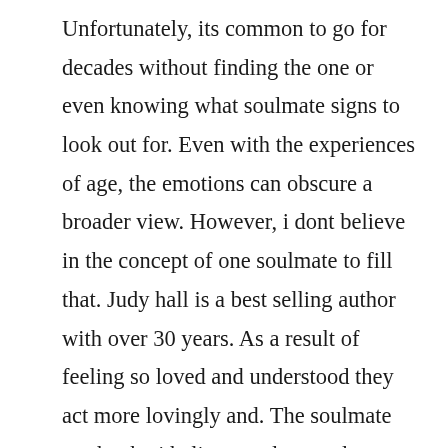Unfortunately, its common to go for decades without finding the one or even knowing what soulmate signs to look out for. Even with the experiences of age, the emotions can obscure a broader view. However, i dont believe in the concept of one soulmate to fill that. Judy hall is a best selling author with over 30 years. As a result of feeling so loved and understood they act more lovingly and. The soulmate myth why i believe soulmates dont exist. In reality, a soulmate can be a lover, but it can also be a sibling, a friend, a parent, a child, and even a coworker. Marriages dont survive